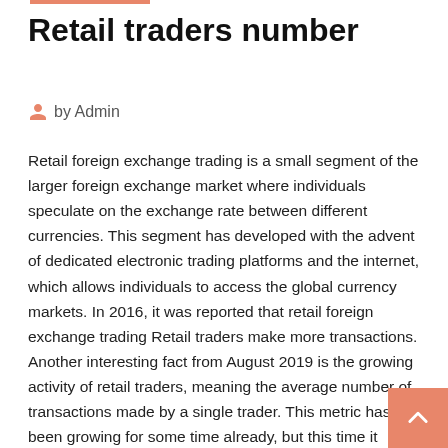Retail traders number
by Admin
Retail foreign exchange trading is a small segment of the larger foreign exchange market where individuals speculate on the exchange rate between different currencies. This segment has developed with the advent of dedicated electronic trading platforms and the internet, which allows individuals to access the global currency markets. In 2016, it was reported that retail foreign exchange trading
Retail traders make more transactions. Another interesting fact from August 2019 is the growing activity of retail traders, meaning the average number of transactions made by a single trader. This metric has been growing for some time already, but this time it broke to a new annual record. Companies - Retail & Traders - New Zealand | Kompass … Companies - Retail & Traders - New Zealand. Refine my search: Return. Search results for : New Zealand Retail & Traders. General traders,